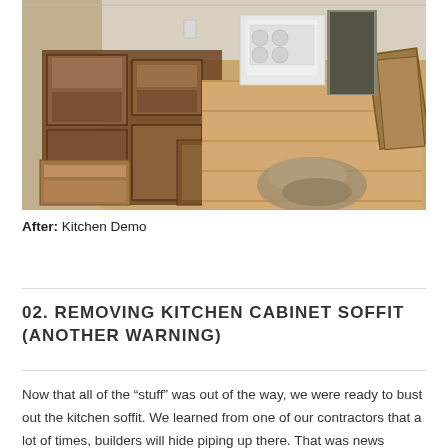[Figure (photo): Kitchen demolition in progress: dismantled dark wood cabinets scattered and stacked on wood floor, white stove visible in background, cabinet panels leaning against right wall.]
After: Kitchen Demo
02. REMOVING KITCHEN CABINET SOFFIT (ANOTHER WARNING)
Now that all of the “stuff” was out of the way, we were ready to bust out the kitchen soffit. We learned from one of our contractors that a lot of times, builders will hide piping up there. That was news